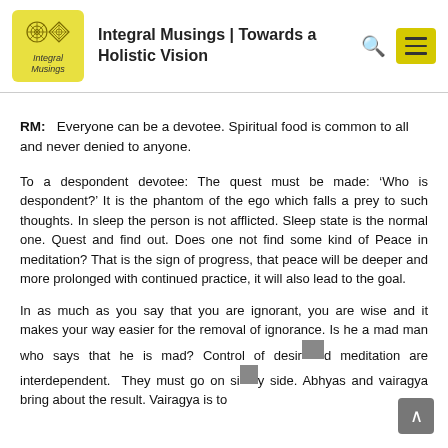Integral Musings | Towards a Holistic Vision
RM:  Everyone can be a devotee. Spiritual food is common to all and never denied to anyone.
To a despondent devotee: The quest must be made: ‘Who is despondent?’ It is the phantom of the ego which falls a prey to such thoughts. In sleep the person is not afflicted. Sleep state is the normal one. Quest and find out. Does one not find some kind of Peace in meditation? That is the sign of progress, that peace will be deeper and more prolonged with continued practice, it will also lead to the goal.
In as much as you say that you are ignorant, you are wise and it makes your way easier for the removal of ignorance. Is he a mad man who says that he is mad? Control of desire and meditation are interdependent. They must go on side by side. Abhyas and vairagya bring about the result. Vairagya is to